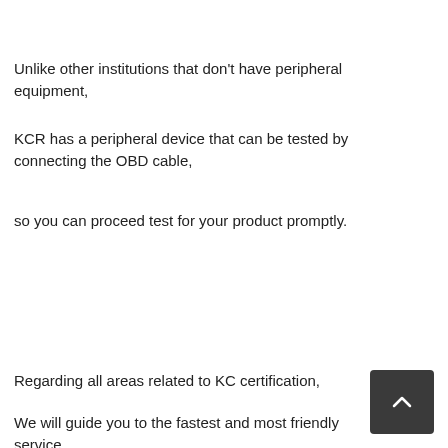Unlike other institutions that don't have peripheral equipment,
KCR has a peripheral device that can be tested by connecting the OBD cable,
so you can proceed test for your product promptly.
Regarding all areas related to KC certification,
We will guide you to the fastest and most friendly service.